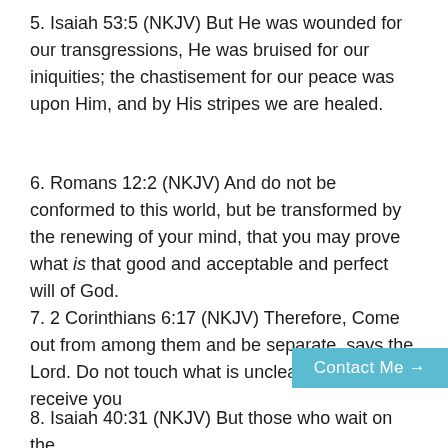5. Isaiah 53:5 (NKJV) But He was wounded for our transgressions, He was bruised for our iniquities; the chastisement for our peace was upon Him, and by His stripes we are healed.
6. Romans 12:2 (NKJV) And do not be conformed to this world, but be transformed by the renewing of your mind, that you may prove what is that good and acceptable and perfect will of God.
7. 2 Corinthians 6:17 (NKJV) Therefore, Come out from among them and be separate, says the Lord. Do not touch what is unclean, and I will receive you
8. Isaiah 40:31 (NKJV) But those who wait on the